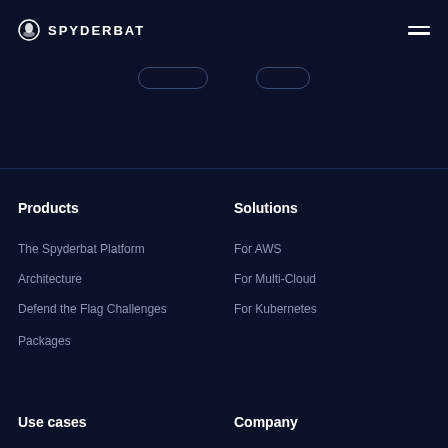SPYDERBAT
Products
The Spyderbat Platform
Architecture
Defend the Flag Challenges
Packages
Solutions
For AWS
For Multi-Cloud
For Kubernetes
Use cases
Company